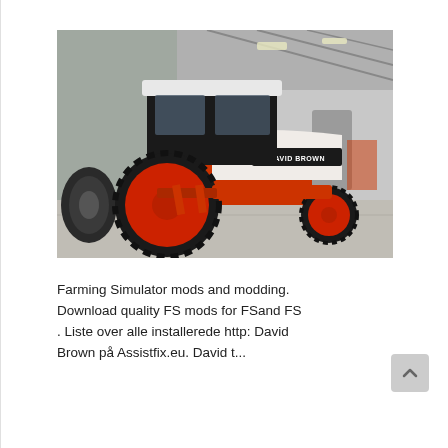[Figure (photo): A David Brown tractor with orange body and black enclosed cab, parked inside an agricultural building/barn with concrete floor and steel roof structure. Large rear wheels with deep tread tires, smaller front wheels. 'DAVID BROWN' branding visible on the white hood/bonnet panel.]
Farming Simulator mods and modding. Download quality FS mods for FSand FS . Liste over alle installerede http: David Brown på Assistfix.eu. David t...